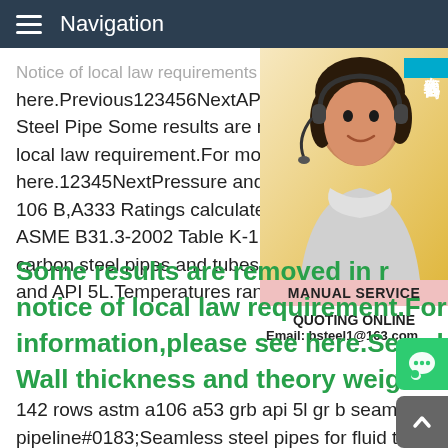Navigation
Notice of local law requirements or more information here.Previous123456NextAPI 5L Welded Steel Pipe Some results are removed in response to a notice of local law requirement.For more information here.12345NextPressure and Temperature 106 B,A333 Ratings calculated (see below) ASME B31.3-2002 Table K-1 for plain end carbon steel pipes and tubes spec.no.A-53 and API 5L.Temperatures ranging 100 o F
[Figure (photo): Customer service representative wearing a headset, smiling, with online service badge in Chinese (在线咨询) and MANUAL SERVICE / QUOTING ONLINE labels and email bsteel1@163.com]
Some results are removed in response to a notice of local law requirement.For more information,please see here.Seamless pipe's Wall thickness and theory weight-ASTM
142 rows astm a106 a53 grb api 5l gr b seamless carbon steel pipeline#0183;Seamless steel pipes for fluid transport generally used in water,oil,gas and other fluids,People also askWhat is A